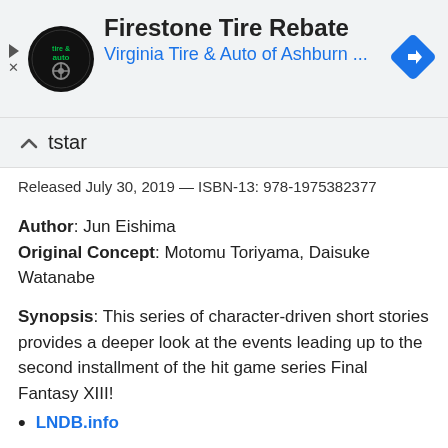[Figure (screenshot): Advertisement banner: Firestone Tire Rebate, Virginia Tire & Auto of Ashburn ... with logo and navigation icon]
...star
Released July 30, 2019 — ISBN-13: 978-1975382377
Author: Jun Eishima
Original Concept: Motomu Toriyama, Daisuke Watanabe
Synopsis: This series of character-driven short stories provides a deeper look at the events leading up to the second installment of the hit game series Final Fantasy XIII!
LNDB.info